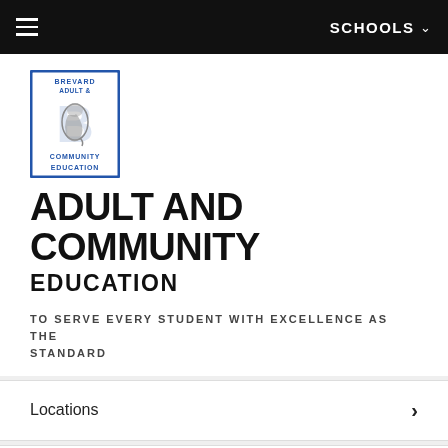SCHOOLS
[Figure (logo): Brevard Adult & Community Education logo with seahorse graphic inside a blue-bordered rectangle]
ADULT AND COMMUNITY EDUCATION
TO SERVE EVERY STUDENT WITH EXCELLENCE AS THE STANDARD
Locations
HOME > ABOUT US > LOCATIONS